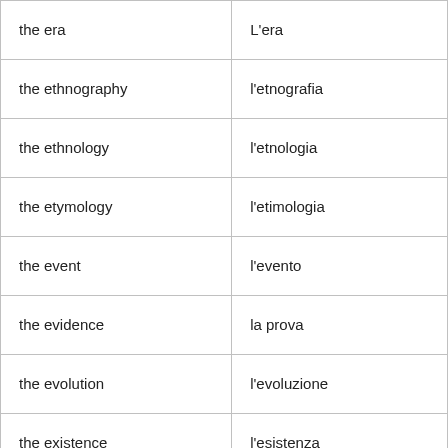| the era | L'era |
| the ethnography | l'etnografia |
| the ethnology | l'etnologia |
| the etymology | l'etimologia |
| the event | l'evento |
| the evidence | la prova |
| the evolution | l'evoluzione |
| the existence | l'esistenza |
| the exodus | l'esodo |
| the expedition | La spedizione |